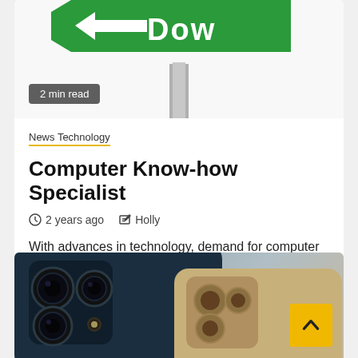[Figure (photo): Green directional street sign with arrow pointing left, partially cropped at top, on a white background]
2 min read
News Technology
Computer Know-how Specialist
2 years ago  Holly
With advances in technology, demand for computer engineering specialists is excessive. One major advance in programming was Wilkes' use of...
[Figure (photo): Close-up of iPhone 12 Pro triple camera system in dark blue and gold colors]